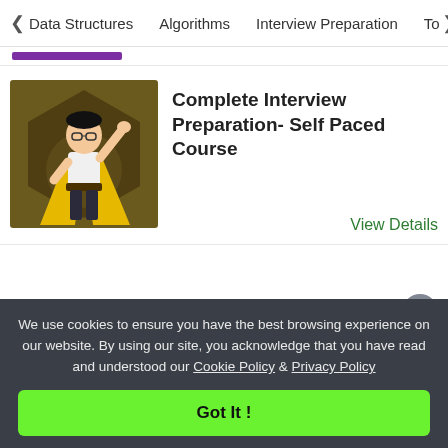< Data Structures   Algorithms   Interview Preparation   To>
[Figure (illustration): Animated character of a student/superhero raising fist with yellow cape on dark olive/brown hexagonal background]
Complete Interview Preparation- Self Paced Course
View Details
We use cookies to ensure you have the best browsing experience on our website. By using our site, you acknowledge that you have read and understood our Cookie Policy & Privacy Policy
Got It !